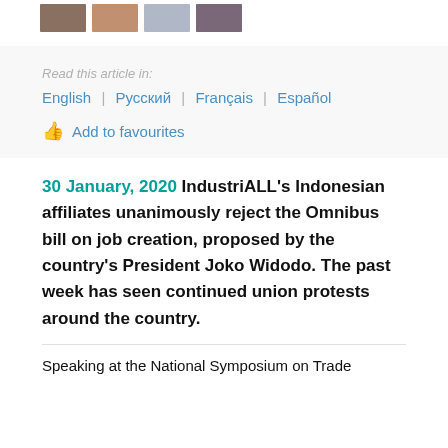[Figure (photo): Four small thumbnail images of union protest events]
Read this article in:
English | Русский | Français | Español
Add to favourites
30 January, 2020 IndustriALL's Indonesian affiliates unanimously reject the Omnibus bill on job creation, proposed by the country's President Joko Widodo. The past week has seen continued union protests around the country.
Speaking at the National Symposium on Trade